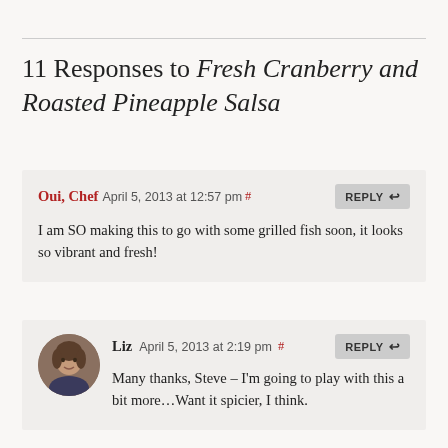11 Responses to Fresh Cranberry and Roasted Pineapple Salsa
Oui, Chef April 5, 2013 at 12:57 pm #
I am SO making this to go with some grilled fish soon, it looks so vibrant and fresh!
Liz April 5, 2013 at 2:19 pm #
Many thanks, Steve – I'm going to play with this a bit more...Want it spicier, I think.